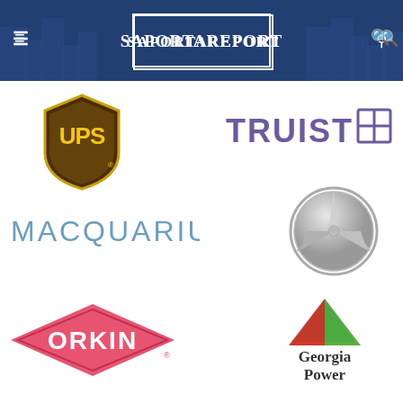SaportaReport
[Figure (logo): UPS shield logo in gold and dark brown]
[Figure (logo): Truist bank logo with stylized T-H mark in purple]
[Figure (logo): Macquarium logo in steel blue sans-serif text]
[Figure (logo): Mercedes-Benz three-pointed star logo in silver/grey]
[Figure (logo): Orkin pest control logo: pink/red diamond shape with white ORKIN text]
[Figure (logo): Georgia Power logo with red/green/blue triangle and text]
[Figure (logo): Chick-fil-A logo partial, red chicken icon]
[Figure (logo): Cresset logo partial, orange sunburst and text]